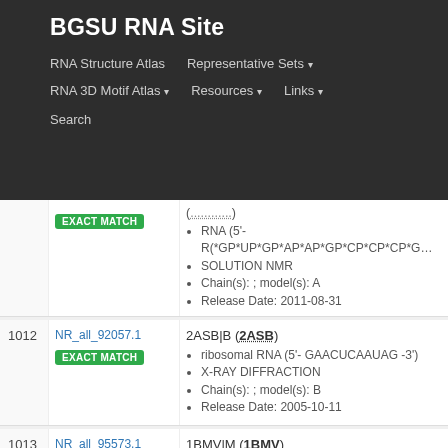BGSU RNA Site
RNA Structure Atlas | Representative Sets ▾ | RNA 3D Motif Atlas ▾ | Resources ▾ | Links ▾ | Search
| # | ID | Details |
| --- | --- | --- |
|  | NR_all_92057.1 EXACT MATCH | 2ASB|B (2ASB)
• ribosomal RNA (5'- GAACUCAAUAG -3')
• X-RAY DIFFRACTION
• Chain(s): ; model(s): B
• Release Date: 2005-10-11 |
| 1013 | NR_all_95573.1 EXACT MATCH | 1BMV|M (1BMV)
• RNA (5'- R(*GP*GP*UP*CP*AP*AP*AP*AP*UP*G… |